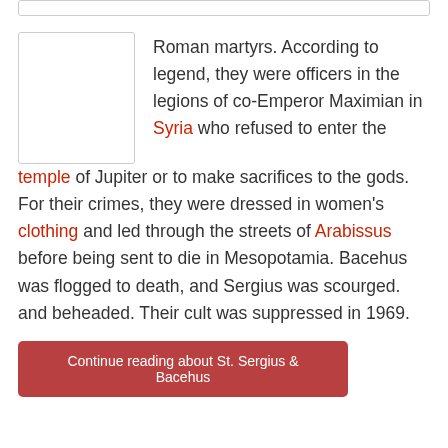[Figure (illustration): Blank white image placeholder box with light grey border]
Roman martyrs. According to legend, they were officers in the legions of co-Emperor Maximian in Syria who refused to enter the temple of Jupiter or to make sacrifices to the gods. For their crimes, they were dressed in women’s clothing and led through the streets of Arabissus before being sent to die in Mesopotamia. Bacehus was flogged to death, and Sergius was scourged. and beheaded. Their cult was suppressed in 1969.
Continue reading about St. Sergius & Bacehus